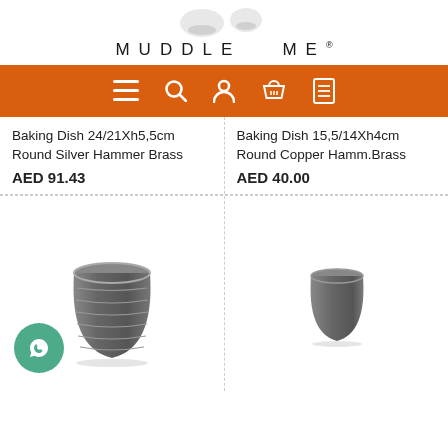[Figure (logo): Muddle Me brand logo with stylized icon above the text]
[Figure (screenshot): Orange navigation bar with hamburger menu, search, user, basket, and list icons]
Baking Dish 24/21Xh5,5cm Round Silver Hammer Brass
AED 91.43
Baking Dish 15,5/14Xh4cm Round Copper Hamm.Brass
AED 40.00
[Figure (photo): Dark grey ribbed ceramic cup/tumbler without handle]
[Figure (photo): Smaller dark grey ceramic cup without handle]